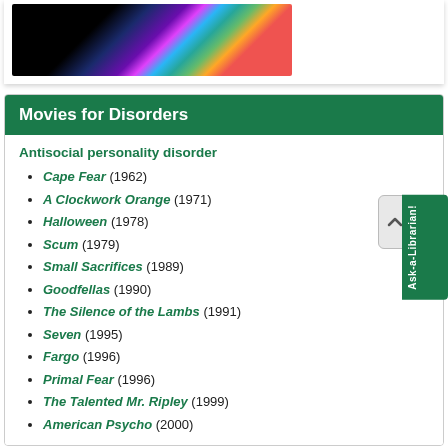[Figure (photo): Colorful abstract image with dark and vivid colors]
Movies for Disorders
Antisocial personality disorder
Cape Fear (1962)
A Clockwork Orange (1971)
Halloween (1978)
Scum (1979)
Small Sacrifices (1989)
Goodfellas (1990)
The Silence of the Lambs (1991)
Seven (1995)
Fargo (1996)
Primal Fear (1996)
The Talented Mr. Ripley (1999)
American Psycho (2000)